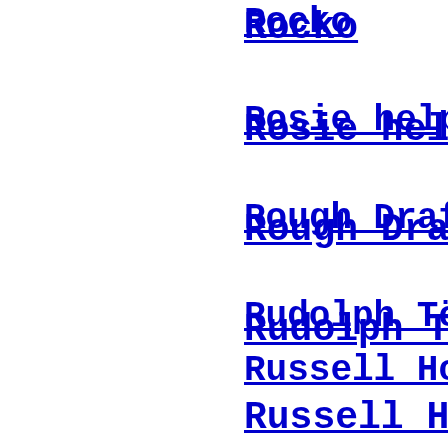Rocko
Rosie helps big
Rough Draft Stu
Rudolph Töpffer
Russell Howard
Sabrina The Tee
Samandariin Tso
Sandmännchen Ea animated doll
Sara Granér